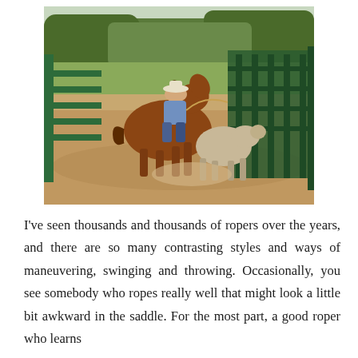[Figure (photo): A cowboy on a chestnut horse chasing a cow in a dirt arena with green metal gates and fencing, trees visible in the background.]
I've seen thousands and thousands of ropers over the years, and there are so many contrasting styles and ways of maneuvering, swinging and throwing. Occasionally, you see somebody who ropes really well that might look a little bit awkward in the saddle. For the most part, a good roper who learns